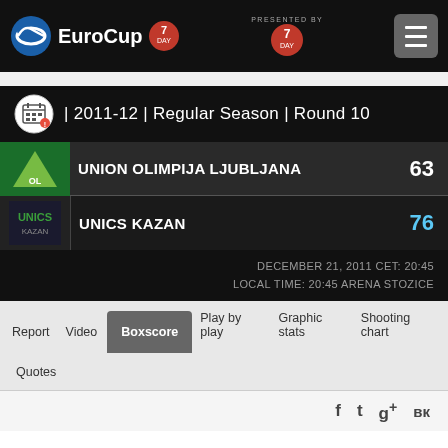[Figure (logo): EuroCup 7DAYS basketball league header logo with navigation hamburger menu]
| 2011-12 | Regular Season | Round 10
UNION OLIMPIJA LJUBLJANA 63
UNICS KAZAN 76
DECEMBER 21, 2011 CET: 20:45
LOCAL TIME: 20:45 ARENA STOZICE
Report  Video  Boxscore  Play by play  Graphic stats  Shooting chart
Quotes
f  t  g+  vk
Referees: CEREBUCH, GUERRINO; KOWALSKI, MARCIN; ANASTOPOULOS, PANAGIOTIS
Attendance: 3500 (Tentative)